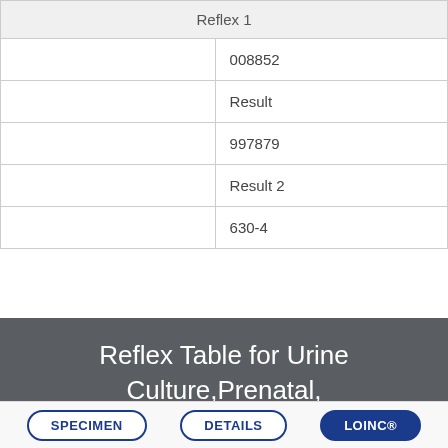| Reflex 1 |  |
| --- | --- |
|  | 008852 |
|  | Result |
|  | 997879 |
|  | Result 2 |
|  | 630-4 |
Reflex Table for Urine Culture,Prenatal, w/GBS
Back to Top
Order Code
SPECIMEN
DETAILS
LOINC®